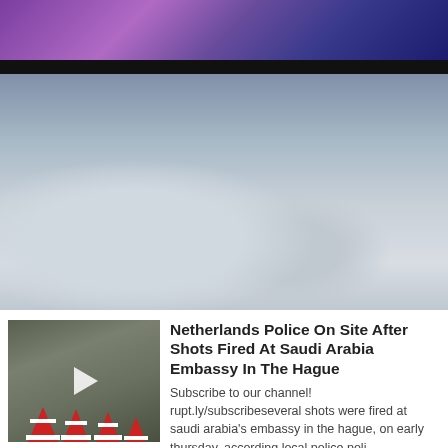[Figure (photo): Purple/blue stage or street light scene viewed from above, top of page]
[Figure (photo): Person in black hoodie scraping snow off a snow-covered car on a winter city street]
[Figure (photo): Person bending over near red and white traffic cones on a street, with a play button overlay indicating a video thumbnail]
Netherlands Police On Site After Shots Fired At Saudi Arabia Embassy In The Hague
Subscribe to our channel! rupt.ly/subscribeseveral shots were fired at saudi arabia's embassy in the hague, on early thursday, according local police.poli...